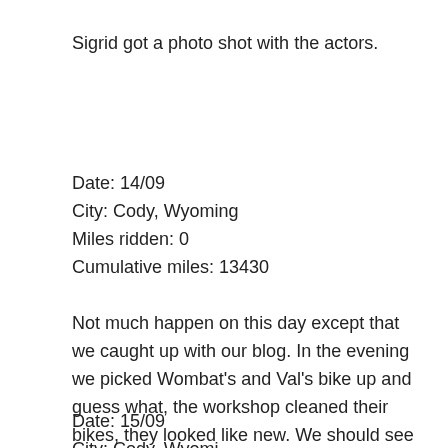Sigrid got a photo shot with the actors.
Date: 14/09
City: Cody, Wyoming
Miles ridden: 0
Cumulative miles: 13430
Not much happen on this day except that we caught up with our blog. In the evening we picked Wombat's and Val's bike up and guess what, the workshop cleaned their bikes, they looked like new. We should see if we can get this done on our next maintenance as well 😉
Date: 15/09
City: Cody, Wyoming